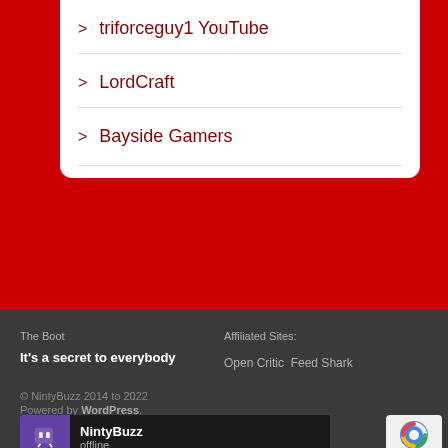> triforceguy1 YouTube
> LordCraft
> Bayside Gamers
The Boot
It's a secret to everybody
Affiliated Sites:
Open Critic Feed Shark
© NintyBuzz 2014 to 2022
Powered by WordPress.
[Figure (screenshot): NintyBuzz Twitch offline widget showing purple icon and offline status]
[Figure (logo): reCAPTCHA badge with Privacy - Terms text]